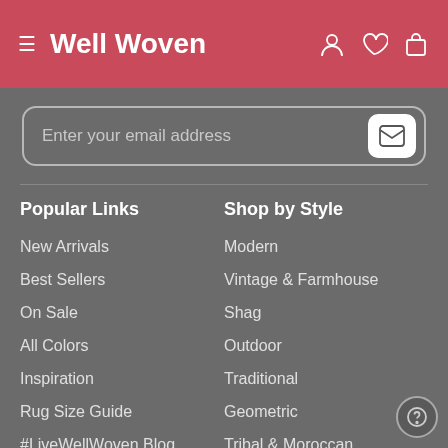Well Woven
Enter your email address
Popular Links
Shop by Style
New Arrivals
Modern
Best Sellers
Vintage & Farmhouse
On Sale
Shag
All Colors
Outdoor
Inspiration
Traditional
Rug Size Guide
Geometric
#LiveWellWoven Blog
Tribal & Moroccan
Oriental & Persian